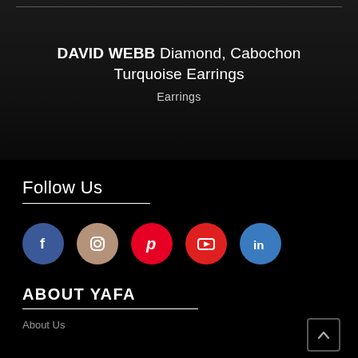DAVID WEBB Diamond, Cabochon Turquoise Earrings
Earrings
Follow Us
[Figure (other): Social media icon buttons: Facebook (blue circle), Instagram (tan/brown circle), Pinterest (red circle), YouTube (red circle), LinkedIn (blue circle)]
ABOUT YAFA
About Us